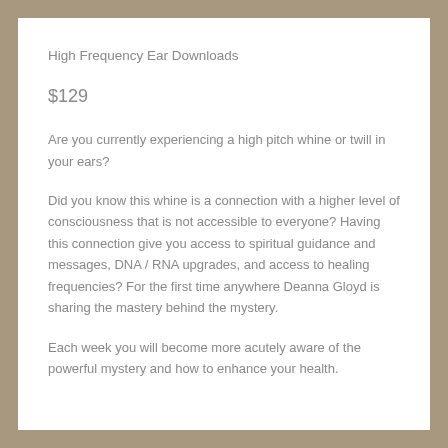High Frequency Ear Downloads
$129
Are you currently experiencing a high pitch whine or twill in your ears?
Did you know this whine is a connection with a higher level of consciousness that is not accessible to everyone? Having this connection give you access to spiritual guidance and messages, DNA / RNA upgrades, and access to healing frequencies? For the first time anywhere Deanna Gloyd is sharing the mastery behind the mystery.
Each week you will become more acutely aware of the powerful mystery and how to enhance your health.